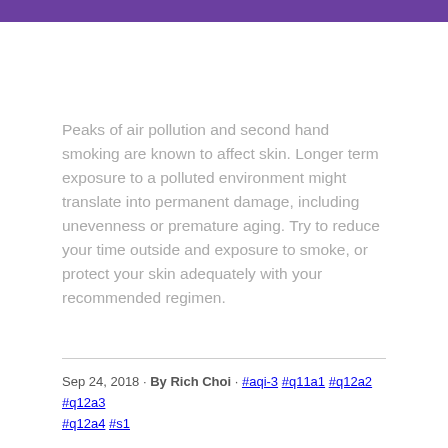Peaks of air pollution and second hand smoking are known to affect skin. Longer term exposure to a polluted environment might translate into permanent damage, including unevenness or premature aging. Try to reduce your time outside and exposure to smoke, or protect your skin adequately with your recommended regimen.
Sep 24, 2018 · By Rich Choi · #aqi-3 #q11a1 #q12a2 #q12a3 #q12a4 #s1